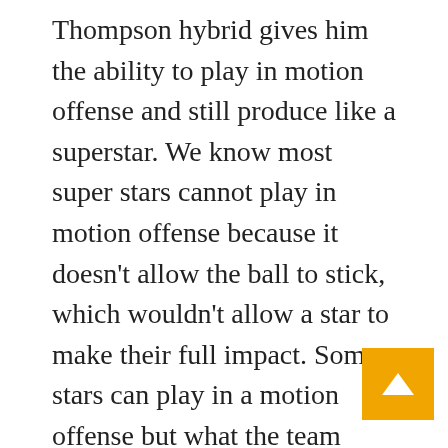Thompson hybrid gives him the ability to play in motion offense and still produce like a superstar. We know most super stars cannot play in motion offense because it doesn't allow the ball to stick, which wouldn't allow a star to make their full impact. Some stars can play in a motion offense but what the team does is they take turns with that star producing and then motion offense being ran. Curry is probably the first super star ever that fits into motion offense as the centrepiece and elevates it and integrates into it while maintaining his super star impact. He compliments it and makes an already super efficient offensive system even more deadly at creating good shots for a team. Curry being able to operate within it gives his team t super star scoring boost and also allows the te to have that insane contribution from the help